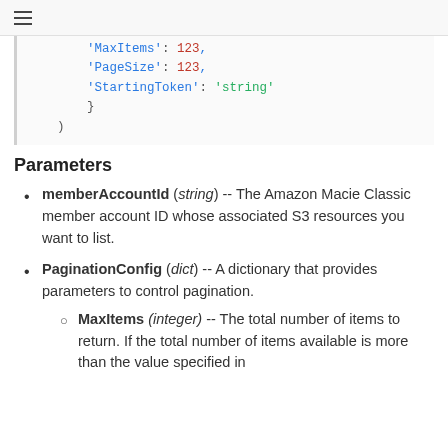≡
'MaxItems': 123,
'PageSize': 123,
'StartingToken': 'string'
    }
)
Parameters
memberAccountId (string) -- The Amazon Macie Classic member account ID whose associated S3 resources you want to list.
PaginationConfig (dict) -- A dictionary that provides parameters to control pagination.
MaxItems (integer) -- The total number of items to return. If the total number of items available is more than the value specified in